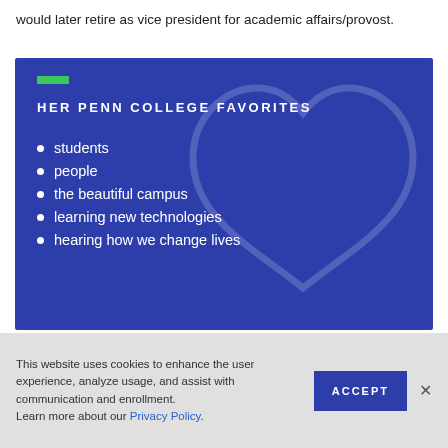would later retire as vice president for academic affairs/provost.
[Figure (infographic): Blue box with heart watermark and title 'HER PENN COLLEGE FAVORITES' with bullet list: students, people, the beautiful campus, learning new technologies, hearing how we change lives]
HER PENN COLLEGE FAVORITES
students
people
the beautiful campus
learning new technologies
hearing how we change lives
This website uses cookies to enhance the user experience, analyze usage, and assist with communication and enrollment. Learn more about our Privacy Policy.